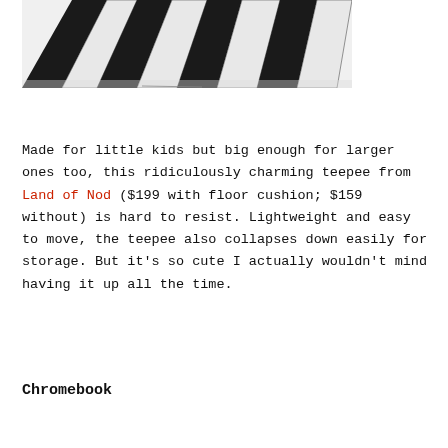[Figure (photo): A black and white teepee tent structure photographed against a white background, showing a collapsible panel design with alternating black and white sections.]
Made for little kids but big enough for larger ones too, this ridiculously charming teepee from Land of Nod ($199 with floor cushion; $159 without) is hard to resist. Lightweight and easy to move, the teepee also collapses down easily for storage. But it's so cute I actually wouldn't mind having it up all the time.
Chromebook